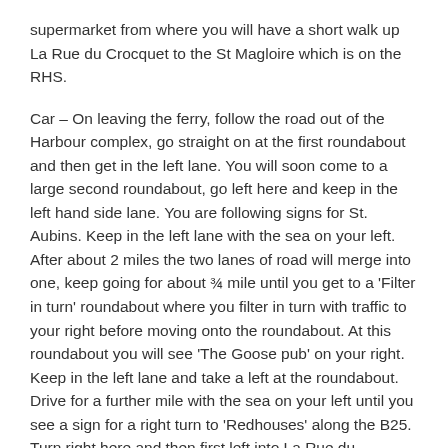supermarket from where you will have a short walk up La Rue du Crocquet to the St Magloire which is on the RHS.
Car – On leaving the ferry, follow the road out of the Harbour complex, go straight on at the first roundabout and then get in the left lane. You will soon come to a large second roundabout, go left here and keep in the left hand side lane. You are following signs for St. Aubins. Keep in the left lane with the sea on your left. After about 2 miles the two lanes of road will merge into one, keep going for about ¾ mile until you get to a 'Filter in turn' roundabout where you filter in turn with traffic to your right before moving onto the roundabout. At this roundabout you will see 'The Goose pub' on your right. Keep in the left lane and take a left at the roundabout. Drive for a further mile with the sea on your left until you see a sign for a right turn to 'Redhouses' along the B25. Turn right here and then first left into La Rue du Crocquet. Follow this road up and then down the hill keeping left at the fork in